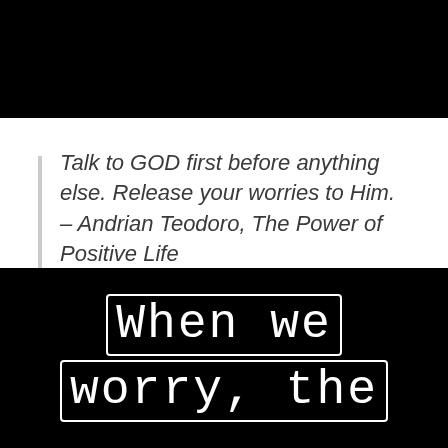[Figure (illustration): Black rectangle at top of page]
Talk to GOD first before anything else. Release your worries to Him.
– Andrian Teodoro, The Power of Positive Life
[Figure (illustration): Black rectangle at bottom with white outlined text reading 'When we worry, the']